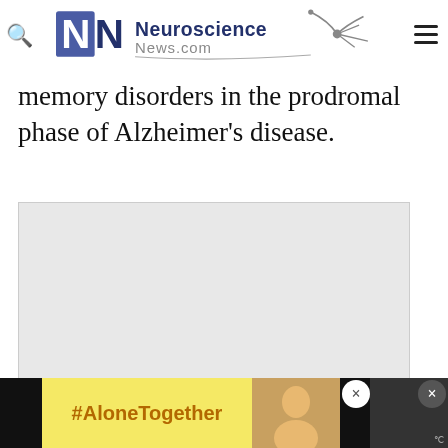Neuroscience News.com
memory disorders in the prodromal phase of Alzheimer's disease.
[Figure (photo): Light gray placeholder image area for article illustration]
[Figure (infographic): #AloneTogether advertisement banner at bottom with yellow background and photo of person]